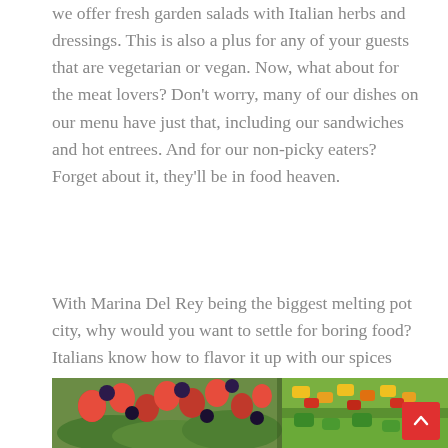we offer fresh garden salads with Italian herbs and dressings. This is also a plus for any of your guests that are vegetarian or vegan. Now, what about for the meat lovers? Don't worry, many of our dishes on our menu have just that, including our sandwiches and hot entrees. And for our non-picky eaters? Forget about it, they'll be in food heaven.
With Marina Del Rey being the biggest melting pot city, why would you want to settle for boring food? Italians know how to flavor it up with our spices and herbs. So if you are throwing a big event, make sure to choose us for catering in Marina Del Rey!
[Figure (photo): Photo of two large glass bowls of salads — one with strawberries and blackberries over greens, another with chopped colorful vegetables including peppers. A red scroll-to-top button is overlaid in the bottom right.]